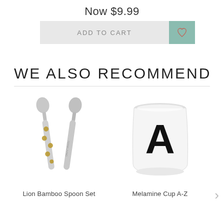Now $9.99
[Figure (screenshot): Add to cart button with heart/wishlist icon on teal background]
WE ALSO RECOMMEND
[Figure (photo): Lion Bamboo Spoon Set - two gray spoons with gold dot pattern]
Lion Bamboo Spoon Set
[Figure (photo): Melamine Cup A-Z - white cup with large black letter A]
Melamine Cup A-Z